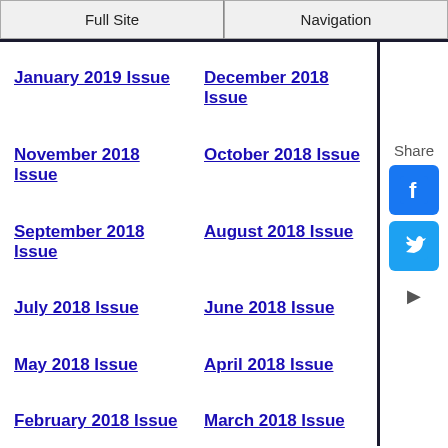Full Site | Navigation
January 2019 Issue
December 2018 Issue
November 2018 Issue
October 2018 Issue
September 2018 Issue
August 2018 Issue
July 2018 Issue
June 2018 Issue
May 2018 Issue
April 2018 Issue
February 2018 Issue
March 2018 Issue
January 2018 Issue
December 2017 Issue